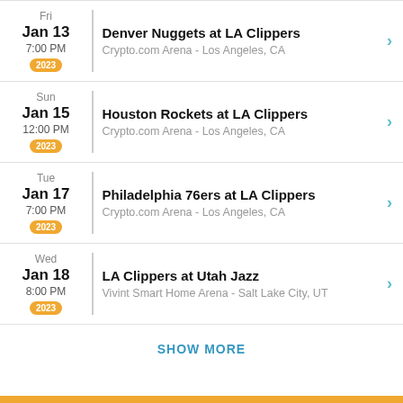Fri Jan 13 7:00 PM 2023 | Denver Nuggets at LA Clippers | Crypto.com Arena - Los Angeles, CA
Sun Jan 15 12:00 PM 2023 | Houston Rockets at LA Clippers | Crypto.com Arena - Los Angeles, CA
Tue Jan 17 7:00 PM 2023 | Philadelphia 76ers at LA Clippers | Crypto.com Arena - Los Angeles, CA
Wed Jan 18 8:00 PM 2023 | LA Clippers at Utah Jazz | Vivint Smart Home Arena - Salt Lake City, UT
SHOW MORE